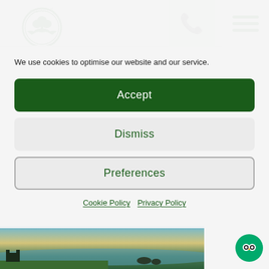[Figure (logo): Executive Tours Ireland circular logo with shamrock and eagle, green and white colors]
[Figure (other): Green phone icon on light green background square]
[Figure (other): Hamburger menu icon (three horizontal green lines) on white background]
We use cookies to optimise our website and our service.
Accept
Dismiss
Preferences
Cookie Policy   Privacy Policy
[Figure (photo): Coastal Ireland landscape photo with sea, rocks and green golf course at dusk]
[Figure (other): TripAdvisor green circular button with owl icon]